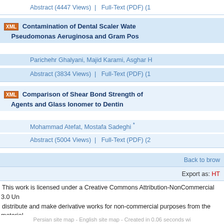Abstract (4447 Views) | Full-Text (PDF) (1...
Contamination of Dental Scaler Wate... Pseudomonas Aeruginosa and Gram Pos...
Parichehr Ghalyani, Majid Karami, Asghar H...
Abstract (3834 Views) | Full-Text (PDF) (1...
Comparison of Shear Bond Strength of... Agents and Glass Ionomer to Dentin
Mohammad Atefat, Mostafa Sadeghi *
Abstract (5004 Views) | Full-Text (PDF) (2...
Back to brow...
Export as: HT...
This work is licensed under a Creative Commons Attribution-NonCommercial 3.0 Un... distribute and make derivative works for non-commercial purposes from the material,... properly
Persian site map - English site map - Created in 0.06 seconds wi...